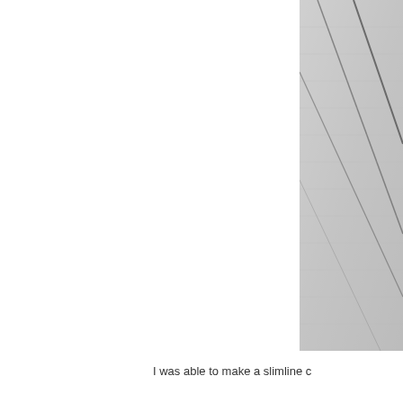[Figure (photo): Close-up photo of textured gray fabric or carpet with diagonal lines/seams, cropped on the right side of the page, upper portion.]
I was able to make a slimline c
[Figure (photo): Close-up photo of textured gray fabric or carpet with diagonal lines/seams, cropped on the right side of the page, lower portion.]